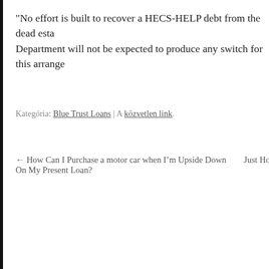“No effort is built to recover a HECS-HELP debt from the dead esta Department will not be expected to produce any switch for this arrange
Kategória: Blue Trust Loans | A közvetlen link.
← How Can I Purchase a motor car when I’m Upside Down On My Present Loan?   Just How this